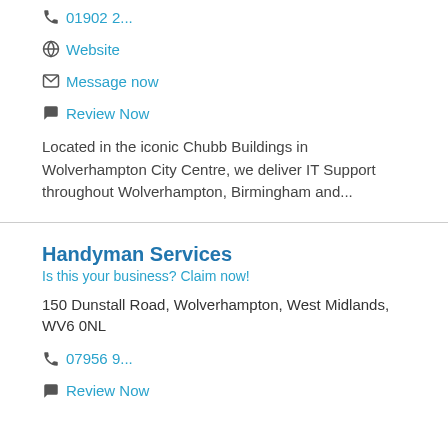01902 2...
Website
Message now
Review Now
Located in the iconic Chubb Buildings in Wolverhampton City Centre, we deliver IT Support throughout Wolverhampton, Birmingham and...
Handyman Services
Is this your business? Claim now!
150 Dunstall Road, Wolverhampton, West Midlands, WV6 0NL
07956 9...
Review Now